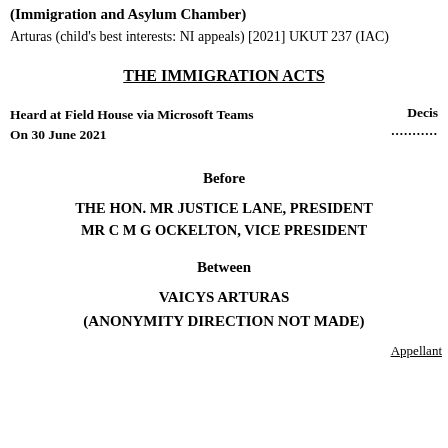(Immigration and Asylum Chamber)
Arturas (child's best interests: NI appeals) [2021] UKUT 237 (IAC)
THE IMMIGRATION ACTS
Heard at Field House via Microsoft Teams
On 30 June 2021
Decis
.........
Before
THE HON. MR JUSTICE LANE, PRESIDENT
MR C M G OCKELTON, VICE PRESIDENT
Between
VAICYS ARTURAS
(ANONYMITY DIRECTION NOT MADE)
Appellant